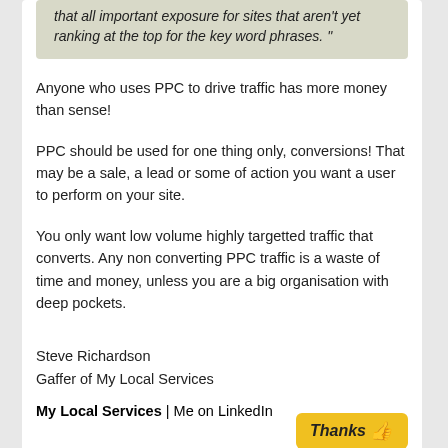that all important exposure for sites that aren't yet ranking at the top for the key word phrases. "
Anyone who uses PPC to drive traffic has more money than sense!
PPC should be used for one thing only, conversions! That may be a sale, a lead or some of action you want a user to perform on your site.
You only want low volume highly targetted traffic that converts. Any non converting PPC traffic is a waste of time and money, unless you are a big organisation with deep pockets.
Steve Richardson
Gaffer of My Local Services
My Local Services | Me on LinkedIn
Thanks